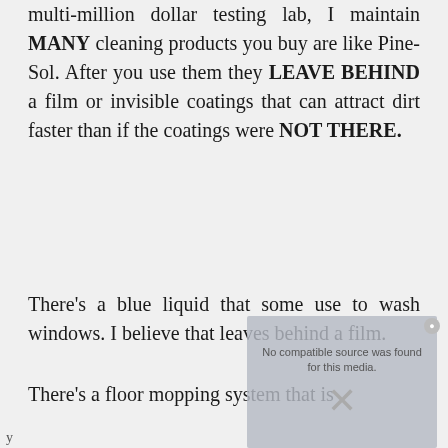multi-million dollar testing lab, I maintain MANY cleaning products you buy are like Pine-Sol. After you use them they LEAVE BEHIND a film or invisible coatings that can attract dirt faster than if the coatings were NOT THERE.
There's a blue liquid that some use to wash windows. I believe that leaves behind a film.
There's a floor mopping system that is
[Figure (screenshot): Video player error overlay showing 'No compatible source was found for this media.' with an X symbol, overlaid on a partial face image.]